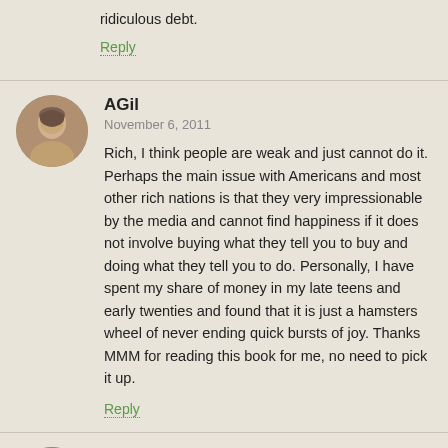ridiculous debt.
Reply
AGil
November 6, 2011
Rich, I think people are weak and just cannot do it. Perhaps the main issue with Americans and most other rich nations is that they very impressionable by the media and cannot find happiness if it does not involve buying what they tell you to buy and doing what they tell you to do. Personally, I have spent my share of money in my late teens and early twenties and found that it is just a hamsters wheel of never ending quick bursts of joy. Thanks MMM for reading this book for me, no need to pick it up.
Reply
Joe O.
November 6, 2011
Huzzah! This book review was great.
I've long agreed that Ramit's "focus on the big wins" isn't